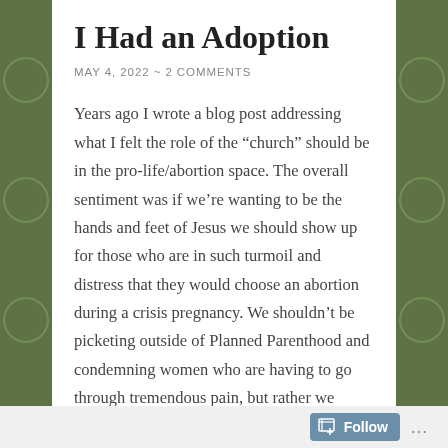I Had an Adoption
MAY 4, 2022 ~ 2 COMMENTS
Years ago I wrote a blog post addressing what I felt the role of the "church" should be in the pro-life/abortion space. The overall sentiment was if we're wanting to be the hands and feet of Jesus we should show up for those who are in such turmoil and distress that they would choose an abortion during a crisis pregnancy. We shouldn't be picketing outside of Planned Parenthood and condemning women who are having to go through tremendous pain, but rather we should be offering them comfort and prayers on their
Follow